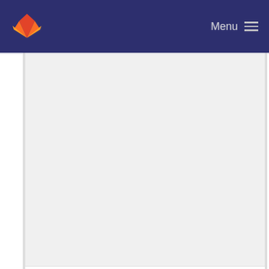Menu
sorting out multiple dump node connection issues
Daniel Brown committed 8 years ago
EOL changes
Daniel Brown committed 8 years ago
changing remove comments to get rid of inline co...
Daniel Brown committed 8 years ago
EOL changes
Daniel Brown committed 8 years ago